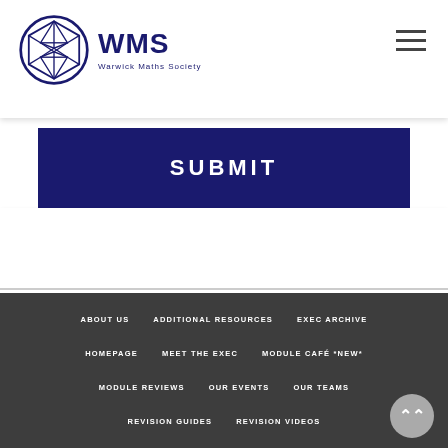WMS Warwick Maths Society
SUBMIT
ABOUT US | ADDITIONAL RESOURCES | EXEC ARCHIVE | HOMEPAGE | MEET THE EXEC | MODULE CAFÉ *NEW* | MODULE REVIEWS | OUR EVENTS | OUR TEAMS | REVISION GUIDES | REVISION VIDEOS